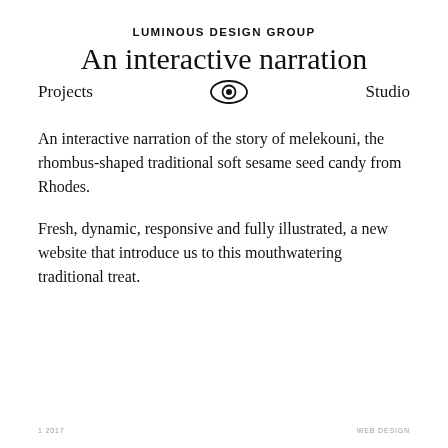LUMINOUS DESIGN GROUP
An interactive narration
Projects   Studio
An interactive narration of the story of melekouni, the rhombus-shaped traditional soft sesame seed candy from Rhodes.
Fresh, dynamic, responsive and fully illustrated, a new website that introduce us to this mouthwatering traditional treat.
1 2017
WEB DESIGN